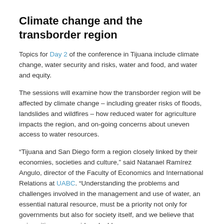Climate change and the transborder region
Topics for Day 2 of the conference in Tijuana include climate change, water security and risks, water and food, and water and equity.
The sessions will examine how the transborder region will be affected by climate change – including greater risks of floods, landslides and wildfires – how reduced water for agriculture impacts the region, and on-going concerns about uneven access to water resources.
“Tijuana and San Diego form a region closely linked by their economies, societies and culture,” said Natanael Ramírez Angulo, director of the Faculty of Economics and International Relations at UABC. “Understanding the problems and challenges involved in the management and use of water, an essential natural resource, must be a priority not only for governments but also for society itself, and we believe that universities can provide valuable